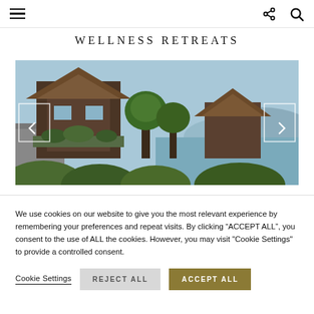Navigation bar with hamburger menu, share icon, and search icon
WELLNESS RETREATS
[Figure (photo): Exterior photo of a Thai-style luxury villa with traditional peaked roofs, tropical lush greenery, and ocean/mountain views in the background. Carousel navigation arrows on left and right sides.]
We use cookies on our website to give you the most relevant experience by remembering your preferences and repeat visits. By clicking “ACCEPT ALL”, you consent to the use of ALL the cookies. However, you may visit "Cookie Settings" to provide a controlled consent.
Cookie Settings   REJECT ALL   ACCEPT ALL